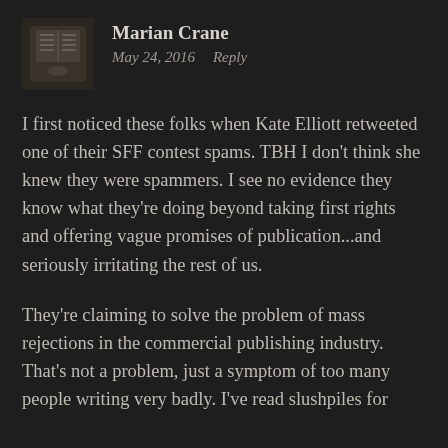Marian Crane
May 24, 2016   Reply
I first noticed these folks when Kate Elliott retweeted one of their SFF contest spams. TBH I don't think she knew they were spammers. I see no evidence they know what they're doing beyond taking first rights and offering vague promises of publication...and seriously irritating the rest of us.
They're claiming to solve the problem of mass rejections in the commercial publishing industry. That's not a problem, just a symptom of too many people writing very badly. I've read slushpiles for